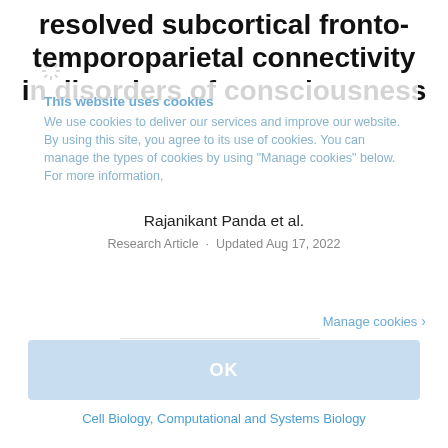resolved subcortical fronto-temporoparietal connectivity in disorders of consciousness
This website uses cookies
We use cookies to deliver our services and improve our website. By using this site, you agree to its use of cookies. You can manage the types of cookies by using "Manage cookies" below. For more information,
Rajanikant Panda et al.
Research Article · Updated Aug 17, 2022
Manage cookies ›
OK
Cell Biology, Computational and Systems Biology